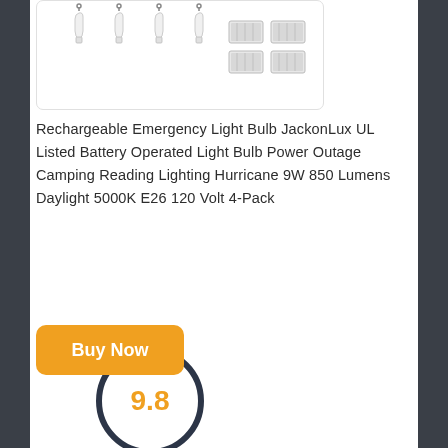[Figure (photo): Product photo showing 4 white rechargeable emergency light bulbs with hooks and battery pack accessories on white background]
Rechargeable Emergency Light Bulb JackonLux UL Listed Battery Operated Light Bulb Power Outage Camping Reading Lighting Hurricane 9W 850 Lumens Daylight 5000K E26 120 Volt 4-Pack
[Figure (other): Orange 'Buy Now' button overlapping a dark navy circular score badge showing '9.8' in orange text]
[Figure (photo): Product photo showing a portable LED camping lantern with handle on white background]